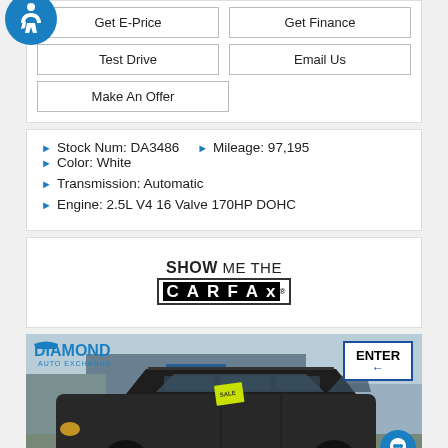[Figure (screenshot): Dealership website UI showing action buttons: Get E-Price, Get Finance, Test Drive, Email Us, Make An Offer; with accessibility icon]
Stock Num: DA3486
Mileage: 97,195
Color: White
Transmission: Automatic
Engine: 2.5L V4 16 Valve 170HP DOHC
[Figure (logo): SHOW ME THE CARFAX logo]
[Figure (photo): Dark SUV (Subaru Outback) parked at Diamond Auto Exchange dealership lot with ENTER sign in background]